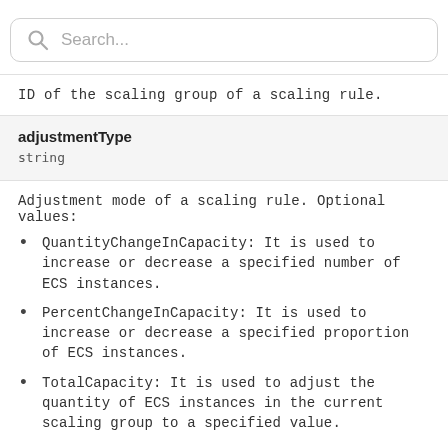[Figure (other): Search bar with magnifying glass icon and placeholder text 'Search...']
ID of the scaling group of a scaling rule.
adjustmentType
string
Adjustment mode of a scaling rule. Optional values:
QuantityChangeInCapacity: It is used to increase or decrease a specified number of ECS instances.
PercentChangeInCapacity: It is used to increase or decrease a specified proportion of ECS instances.
TotalCapacity: It is used to adjust the quantity of ECS instances in the current scaling group to a specified value.